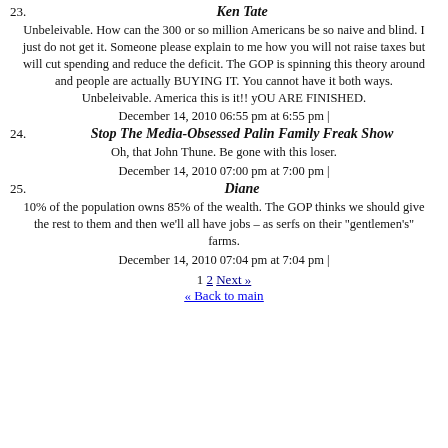23. Ken Tate
Unbeleivable. How can the 300 or so million Americans be so naive and blind. I just do not get it. Someone please explain to me how you will not raise taxes but will cut spending and reduce the deficit. The GOP is spinning this theory around and people are actually BUYING IT. You cannot have it both ways. Unbeleivable. America this is it!! yOU ARE FINISHED.
December 14, 2010 06:55 pm at 6:55 pm |
24. Stop The Media-Obsessed Palin Family Freak Show
Oh, that John Thune. Be gone with this loser.
December 14, 2010 07:00 pm at 7:00 pm |
25. Diane
10% of the population owns 85% of the wealth. The GOP thinks we should give the rest to them and then we'll all have jobs – as serfs on their "gentlemen's" farms.
December 14, 2010 07:04 pm at 7:04 pm |
1 2 Next »
« Back to main